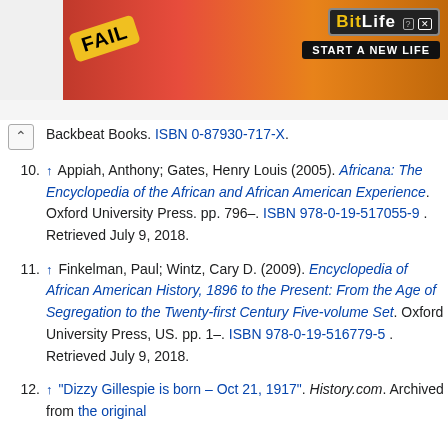[Figure (other): BitLife advertisement banner with 'FAIL' text and 'START A NEW LIFE' tagline on red/orange background]
Backbeat Books. ISBN 0-87930-717-X.
10. ↑ Appiah, Anthony; Gates, Henry Louis (2005). Africana: The Encyclopedia of the African and African American Experience. Oxford University Press. pp. 796–. ISBN 978-0-19-517055-9 . Retrieved July 9, 2018.
11. ↑ Finkelman, Paul; Wintz, Cary D. (2009). Encyclopedia of African American History, 1896 to the Present: From the Age of Segregation to the Twenty-first Century Five-volume Set. Oxford University Press, US. pp. 1–. ISBN 978-0-19-516779-5 . Retrieved July 9, 2018.
12. ↑ "Dizzy Gillespie is born – Oct 21, 1917". History.com. Archived from the original on June 24, 2017. Retrieved